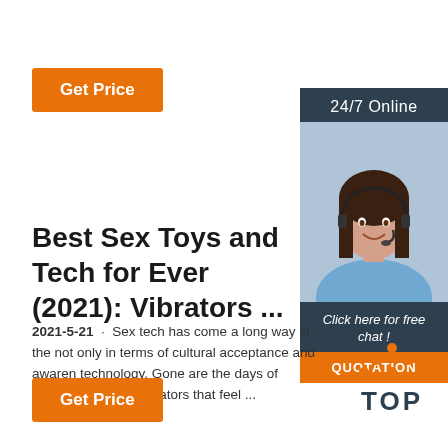[Figure (other): Orange 'Get Price' button at top left]
[Figure (other): Sidebar with dark blue background, '24/7 Online' header, photo of woman with headset, 'Click here for free chat!' text, and orange QUOTATION button]
Best Sex Toys and Tech for Ever (2021): Vibrators ...
2021-5-21 · Sex tech has come a long way in the not only in terms of cultural acceptance and awareness, technology. Gone are the days of clunky, pink plast vibrators that feel ...
[Figure (other): Orange 'Get Price' button at bottom left]
[Figure (logo): TOP logo with orange dots forming a triangle above 'TOP' text in dark blue]